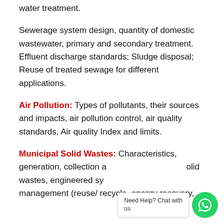water treatment.
Sewerage system design, quantity of domestic wastewater, primary and secondary treatment. Effluent discharge standards; Sludge disposal; Reuse of treated sewage for different applications.
Air Pollution: Types of pollutants, their sources and impacts, air pollution control, air quality standards, Air quality Index and limits.
Municipal Solid Wastes: Characteristics, generation, collection and transportation of solid wastes, engineered systems for solid waste management (reuse/ recycle, energy recovery,